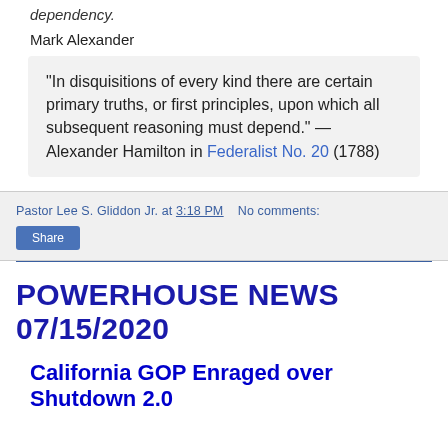dependency.
Mark Alexander
"In disquisitions of every kind there are certain primary truths, or first principles, upon which all subsequent reasoning must depend." — Alexander Hamilton in Federalist No. 20 (1788)
Pastor Lee S. Gliddon Jr. at 3:18 PM   No comments:
Share
POWERHOUSE NEWS 07/15/2020
California GOP Enraged over Shutdown 2.0